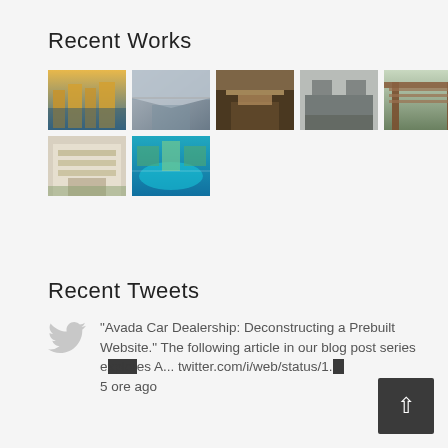Recent Works
[Figure (photo): Grid of 7 architectural/design thumbnail photos: row 1 has 5 images (buildings, interior, outdoor lounge, kitchen, pergola), row 2 has 2 images (commercial building, aerial marina view)]
Recent Tweets
"Avada Car Dealership: Deconstructing a Prebuilt Website." The following article in our blog post series explores A... twitter.com/i/web/status/1.
5 ore ago